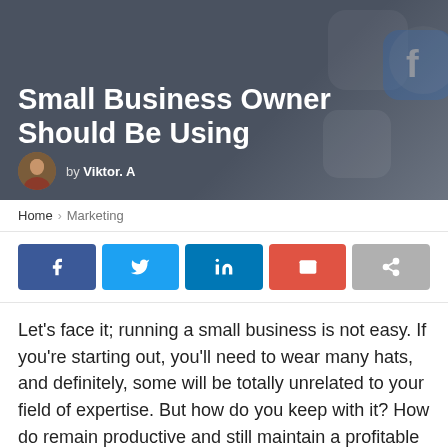[Figure (photo): Hero image with dark grey background showing social media app icons (Facebook icon visible) and the article title overlaid in white text, with author avatar and byline.]
Small Business Owner Should Be Using
by Viktor. A
Home > Marketing
[Figure (other): Social share buttons row: Facebook (dark blue), Twitter (light blue), LinkedIn (blue), Email (red/orange), Share (grey)]
Let's face it; running a small business is not easy. If you're starting out, you'll need to wear many hats, and definitely, some will be totally unrelated to your field of expertise. But how do you keep with it? How do remain productive and still maintain a profitable business? We have compiled a list of 10 incredible free tools for small business owners to help you grow and scale. These tools, when used efficiently,